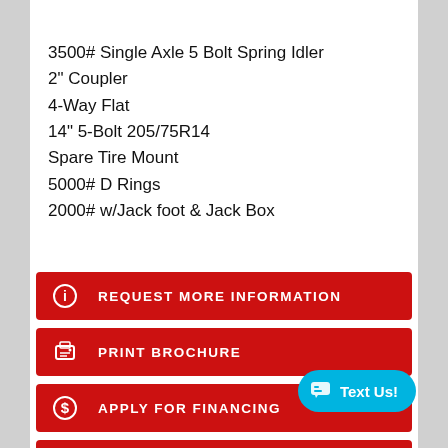3500# Single Axle 5 Bolt Spring Idler
2" Coupler
4-Way Flat
14" 5-Bolt 205/75R14
Spare Tire Mount
5000# D Rings
2000# w/Jack foot & Jack Box
REQUEST MORE INFORMATION
PRINT BROCHURE
APPLY FOR FINANCING
CALCULATE PAYMENT
INSURANCE QUOTE